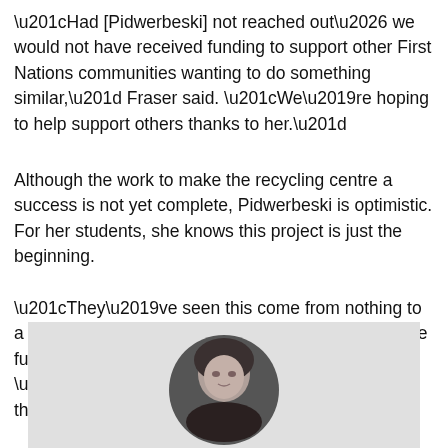“Had [Pidwerbeski] not reached out… we would not have received funding to support other First Nations communities wanting to do something similar,” Fraser said. “We’re hoping to help support others thanks to her.”
Although the work to make the recycling centre a success is not yet complete, Pidwerbeski is optimistic. For her students, she knows this project is just the beginning.
“They’ve seen this come from nothing to a whole depot, so they know it’s possible in the future [to make big things happen],” she said. “They’re going to be the leaders in this.”
[Figure (photo): Black and white circular portrait photo of a person, shown from shoulders up, set against a light grey rectangular background panel.]